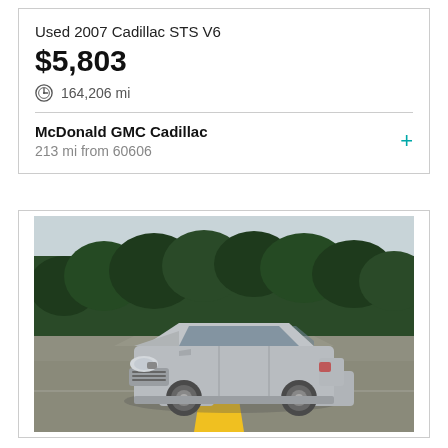Used 2007 Cadillac STS V6
$5,803
164,206 mi
McDonald GMC Cadillac
213 mi from 60606
[Figure (photo): Silver 2007 Cadillac STS V6 sedan driving on a two-lane road with yellow center lines and trees in the background]